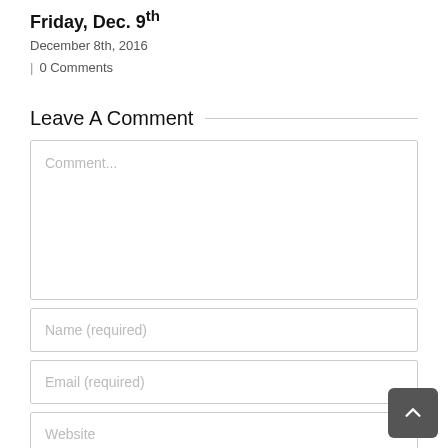Friday, Dec. 9th
December 8th, 2016
| 0 Comments
Leave A Comment
Comment...
Name (required)
Email (required)
Website